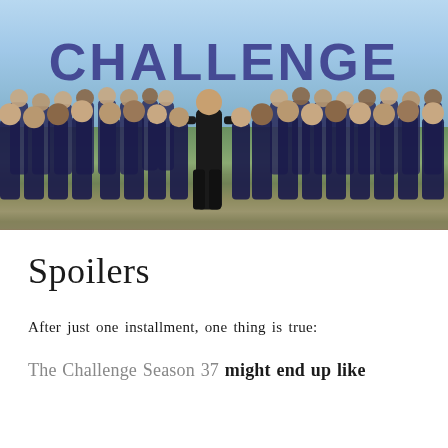[Figure (photo): Group promotional photo for The Challenge Season 37. A large group of contestants in navy blue athletic wear stand in a curved formation on a grass cliff by the ocean. A host in a black outfit stands centered in the foreground. Large purple block letters spelling 'CHALLENGE' are visible in the background. Sky and coastal scenery behind.]
Spoilers
After just one installment, one thing is true:
The Challenge Season 37 might end up like